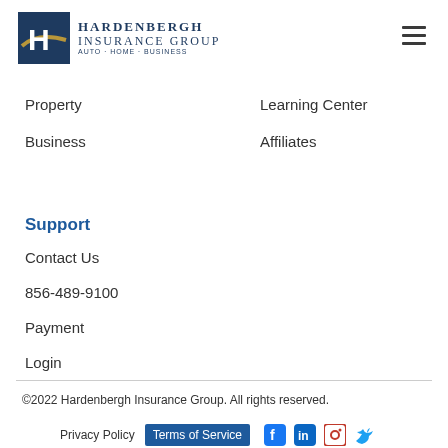[Figure (logo): Hardenbergh Insurance Group logo with H lettermark and gold swoosh, text reads HARDENBERGH INSURANCE GROUP AUTO · HOME · BUSINESS]
Property
Business
Learning Center
Affiliates
Support
Contact Us
856-489-9100
Payment
Login
©2022 Hardenbergh Insurance Group. All rights reserved.
Privacy Policy   Terms of Service